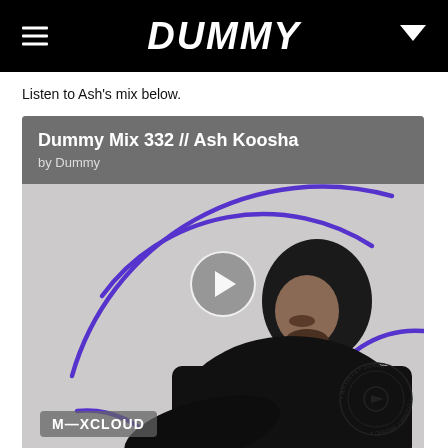DUMMY
Listen to Ash's mix below.
[Figure (screenshot): Mixcloud embedded player showing 'Dummy Mix 332 // Ash Koosha by Dummy' with a play button, purple circular arc decorations, a photo of Ash Koosha in black clothing, and Mixcloud branding badge in the bottom left. A circular stamp watermark is visible in the bottom right.]